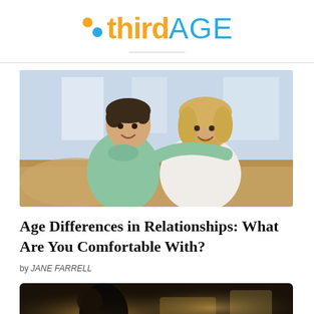thirdAGE
[Figure (photo): A smiling couple sitting on a couch — a younger man in a light green polo shirt on the left and a blonde woman in a white top on the right, both looking at the camera happily.]
Age Differences in Relationships: What Are You Comfortable With?
by JANE FARRELL
[Figure (photo): A dark, blurry image suggesting a couple or people in a dimly lit setting, possibly at a restaurant or holiday scene.]